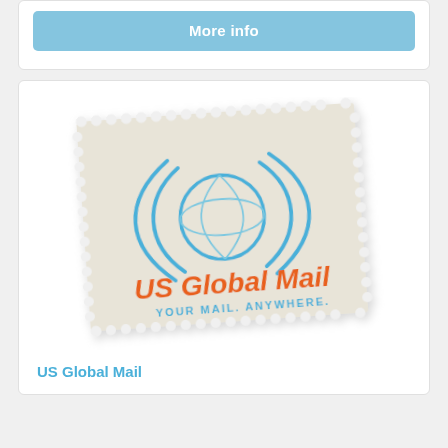[Figure (logo): More info button - light blue rounded rectangle button with white bold text 'More info']
[Figure (logo): US Global Mail logo on a postage stamp graphic. Stamp has perforated edges, beige/cream background, blue globe with signal arcs logo mark, orange bold text 'US Global Mail', blue uppercase text 'YOUR MAIL. ANYWHERE.']
US Global Mail